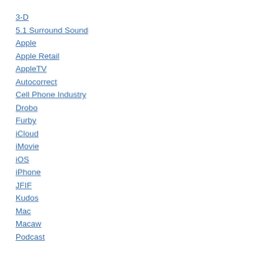3-D
5.1 Surround Sound
Apple
Apple Retail
AppleTV
Autocorrect
Cell Phone Industry
Drobo
Furby
iCloud
iMovie
iOS
iPhone
JFIF
Kudos
Mac
Macaw
Podcast